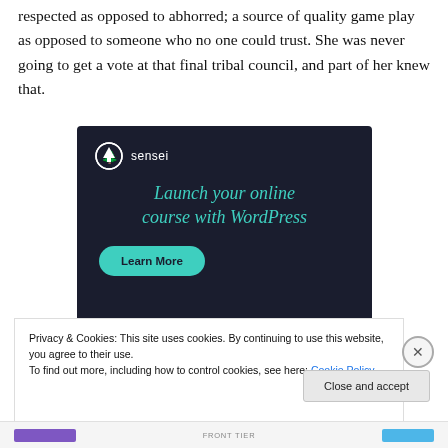respected as opposed to abhorred; a source of quality game play as opposed to someone who no one could trust. She was never going to get a vote at that final tribal council, and part of her knew that.
[Figure (infographic): Sensei advertisement: dark navy background with Sensei logo (tree icon in circle), headline 'Launch your online course with WordPress' in teal italic text, and a teal 'Learn More' pill button.]
Privacy & Cookies: This site uses cookies. By continuing to use this website, you agree to their use.
To find out more, including how to control cookies, see here: Cookie Policy